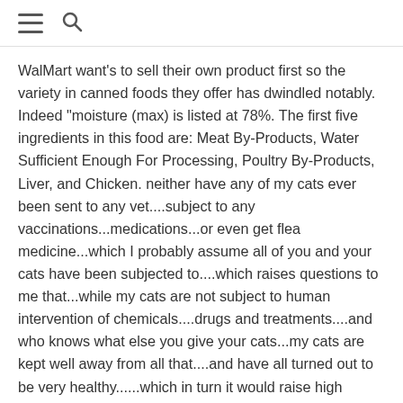≡ 🔍
WalMart want's to sell their own product first so the variety in canned foods they offer has dwindled notably. Indeed "moisture (max) is listed at 78%. The first five ingredients in this food are: Meat By-Products, Water Sufficient Enough For Processing, Poultry By-Products, Liver, and Chicken. neither have any of my cats ever been sent to any vet....subject to any vaccinations...medications...or even get flea medicine...which I probably assume all of you and your cats have been subjected to....which raises questions to me that...while my cats are not subject to human intervention of chemicals....drugs and treatments....and who knows what else you give your cats...my cats are kept well away from all that....and have all turned out to be very healthy......which in turn it would raise high suspicions as to the real cause to much of all your sickness by exposing them to the vets....chemicals....drugs....and all that other malarkey....in case you all have forgotten cats and dogs...and all other animals have lived and survived on this planet for almost 6000 years without the need of vets.....and their man made pharmaceuticals...probing....invasive